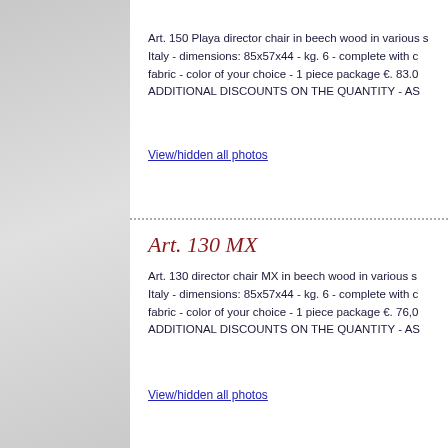Art. 150 Playa director chair in beech wood in various s Italy - dimensions: 85x57x44 - kg. 6 - complete with c fabric - color of your choice - 1 piece package €. 83.0 ADDITIONAL DISCOUNTS ON THE QUANTITY - AS
View/hidden all photos
Art. 130 MX
Art. 130 director chair MX in beech wood in various s Italy - dimensions: 85x57x44 - kg. 6 - complete with c fabric - color of your choice - 1 piece package €. 76,0 ADDITIONAL DISCOUNTS ON THE QUANTITY - AS
View/hidden all photos